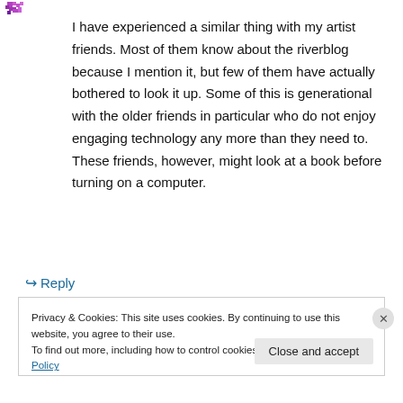[Figure (illustration): Small pixel-art avatar icon in purple/magenta tones at top left]
I have experienced a similar thing with my artist friends. Most of them know about the riverblog because I mention it, but few of them have actually bothered to look it up. Some of this is generational with the older friends in particular who do not enjoy engaging technology any more than they need to. These friends, however, might look at a book before turning on a computer.
↳ Reply
Privacy & Cookies: This site uses cookies. By continuing to use this website, you agree to their use.
To find out more, including how to control cookies, see here: Cookie Policy
Close and accept